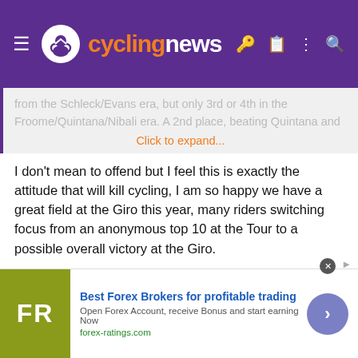cyclingnews
from the Schleck/Evans era, but only 3rd or 4th in the Froome/Quintana/Nibali era. A 2nd place, beating Quintana and
Click to expand...
I don't mean to offend but I feel this is exactly the attitude that will kill cycling, I am so happy we have a great field at the Giro this year, many riders switching focus from an anonymous top 10 at the Tour to a possible overall victory at the Giro.
A GT win should never be considered less than a 2nd place at a GT! Alberto has amassed 7/9 GT victories in 9 seasons, while a 2nd place would proof some of the doubters who believe he would be lucky to finish in the top 5 wrong, it wouldn't add to his palmares, no one would talk about a 2nd place in 10 years time.
[Figure (screenshot): Advertisement banner for Best Forex Brokers with FR logo, blue arrow button, and text 'Best Forex Brokers for profitable trading. Open Forex Account, receive Bonus and start earning Now. forex-ratings.com']